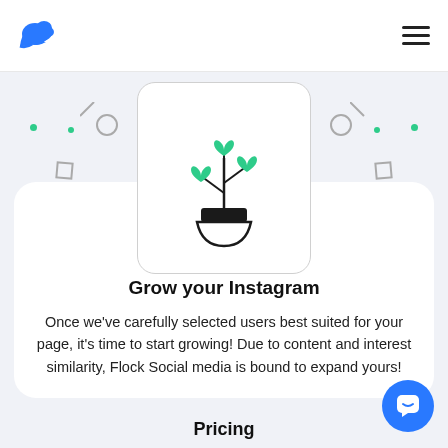Flock Social [logo] [hamburger menu]
[Figure (illustration): A potted plant with green heart-shaped leaves on a white rounded card, surrounded by decorative dots, circles, lines and squares on a light gray background]
Grow your Instagram
Once we’ve carefully selected users best suited for your page, it’s time to start growing! Due to content and interest similarity, Flock Social media is bound to expand yours!
Pricing